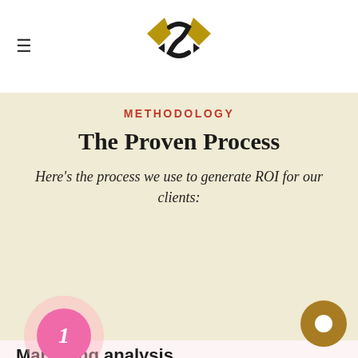≡ [Logo]
METHODOLOGY
The Proven Process
Here's the process we use to generate ROI for our clients:
1
Marketing analysis
Together we will brainstorm to create an execution plan to maximize all the possibilities we find potential and viable for your business.